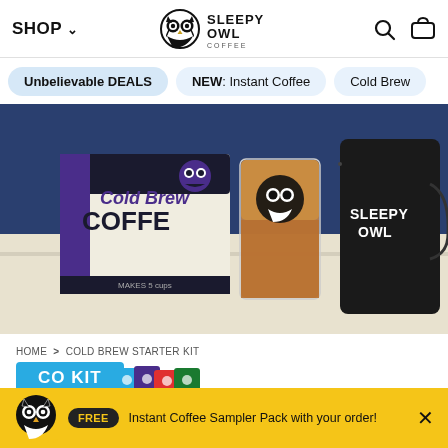SHOP ∨  [Sleepy Owl Coffee Logo]  [Search icon] [Cart icon]
Unbelievable DEALS
NEW: Instant Coffee
Cold Brew
[Figure (photo): Hero image showing Sleepy Owl Cold Brew Coffee box packaging, a glass of iced coffee with the owl logo, and a large dark Sleepy Owl branded pitcher/jug, set on a cream/beige surface with a dark blue background.]
HOME > COLD BREW STARTER KIT
COLD BREW STARTER KIT (partial button visible)
FREE  Instant Coffee Sampler Pack with your order!